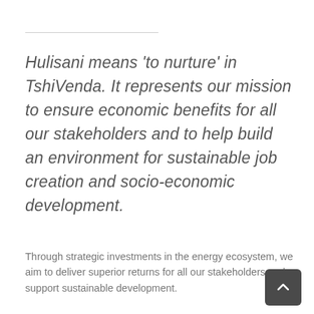Hulisani means 'to nurture' in TshiVenda. It represents our mission to ensure economic benefits for all our stakeholders and to help build an environment for sustainable job creation and socio-economic development.
Through strategic investments in the energy ecosystem, we aim to deliver superior returns for all our stakeholders and support sustainable development.